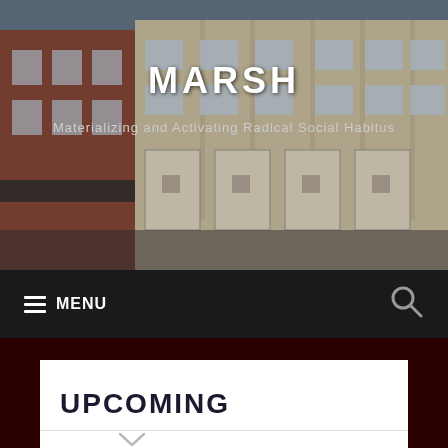[Figure (photo): Photograph of a row of urban storefronts and buildings with brick and light-colored facades, windows visible across two stories.]
MARSH
Materializing and Activating Radical Social Habitus
MENU
UPCOMING